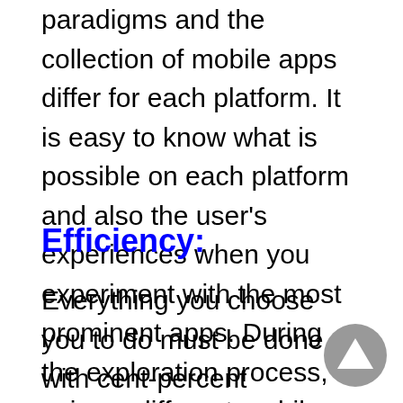paradigms and the collection of mobile apps differ for each platform. It is easy to know what is possible on each platform and also the user's experiences when you experiment with the most prominent apps. During the exploration process, using a different mobile platform device works best.
Efficiency:
Everything you choose you to do must be done with cent-percent accuracy and efficiency, or else there is no point in doing it. Don't do it just for the sake of doing it. Users have these expectations from every mobile app out there. Like, the app must be efficient in every way and it must also be